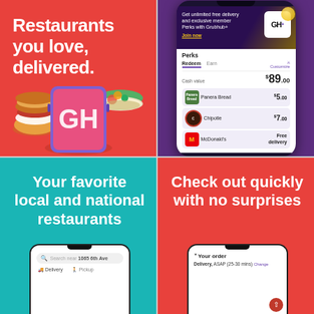[Figure (screenshot): Grubhub app promotional image - top left: red background with white bold text 'Restaurants you love, delivered.' and illustrated phone with burger and salad]
[Figure (screenshot): Grubhub app screenshot - top right: dark purple background showing Grubhub+ membership perks screen with GH+ badge, Panera Bread $5, Chipotle $7, McDonald's Free delivery, cash value $89.00]
[Figure (screenshot): Grubhub app promotional image - bottom left: teal background with white bold text 'Your favorite local and national restaurants' and phone showing search screen with delivery/pickup tabs]
[Figure (screenshot): Grubhub app promotional image - bottom right: red background with white bold text 'Check out quickly with no surprises' and phone showing 'Your order' screen with delivery ASAP 25-30 min]